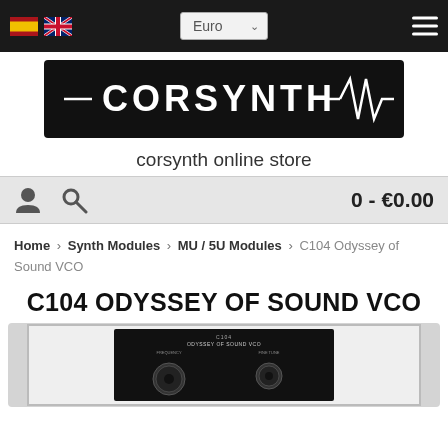[Figure (screenshot): Top navigation bar with Spanish and UK flag icons, Euro currency dropdown, and hamburger menu on dark background]
[Figure (logo): CORSYNTH logo in white stylized text on black background with waveform graphic]
corsynth online store
[Figure (screenshot): Icon bar with person icon, search icon on left, and cart showing 0 - €0.00 on right]
Home > Synth Modules > MU / 5U Modules > C104 Odyssey of Sound VCO
C104 ODYSSEY OF SOUND VCO
[Figure (photo): Partial view of C104 Odyssey of Sound VCO module with knobs on dark panel]